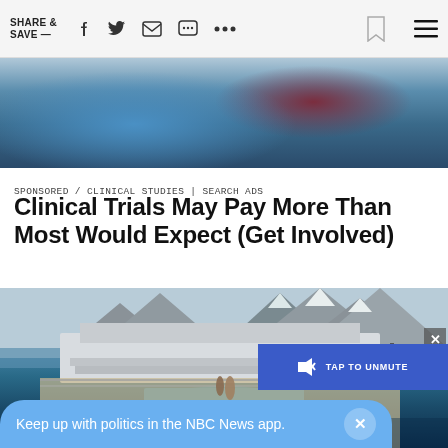SHARE & SAVE —
[Figure (photo): Close-up photo of a person in a blue shirt receiving a medical procedure, seated in a reddish-purple medical chair]
SPONSORED / CLINICAL STUDIES | SEARCH ADS
Clinical Trials May Pay More Than Most Would Expect (Get Involved)
[Figure (photo): Aerial view of a cruise ship deck with a swimming pool, passengers, and snow-capped mountains in the background. Overlay shows a blue 'TAP TO UNMUTE' button and an NBC News notification banner reading 'Keep up with politics in the NBC News app.']